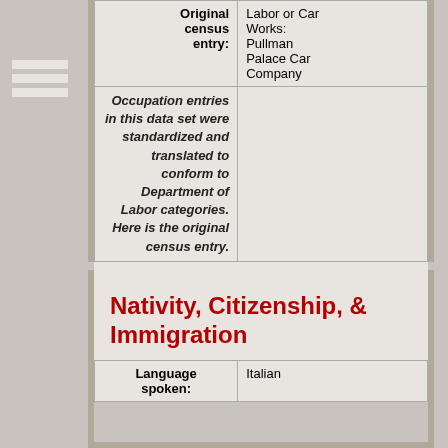| Original census entry: | Labor or Car Works: Pullman Palace Car Company |
| --- | --- |
| Occupation entries in this data set were standardized and translated to conform to Department of Labor categories. Here is the original census entry. |  |
Nativity, Citizenship, & Immigration
| Language spoken: | Italian |
| --- | --- |